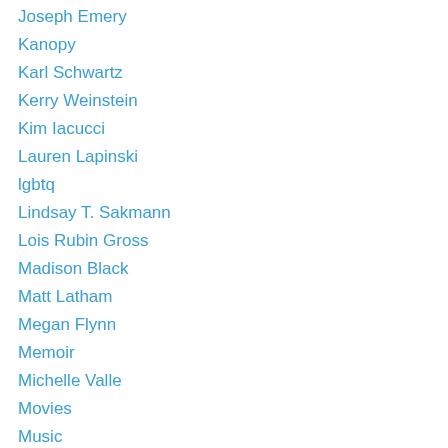Joseph Emery
Kanopy
Karl Schwartz
Kerry Weinstein
Kim Iacucci
Lauren Lapinski
lgbtq
Lindsay T. Sakmann
Lois Rubin Gross
Madison Black
Matt Latham
Megan Flynn
Memoir
Michelle Valle
Movies
Music
Mysteries
Nicole Marconi
Nonfiction
Ona Gritz